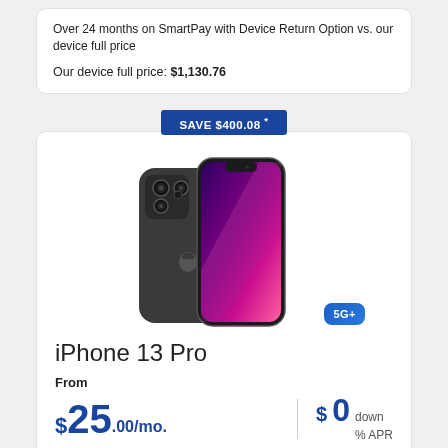Over 24 months on SmartPay with Device Return Option vs. our device full price
Our device full price: $1,130.76
SAVE $400.08 *
[Figure (photo): iPhone 13 Pro shown from front and back, graphite color, with 5G+ badge]
iPhone 13 Pro
From
$25.00/mo.  $0 down % APR